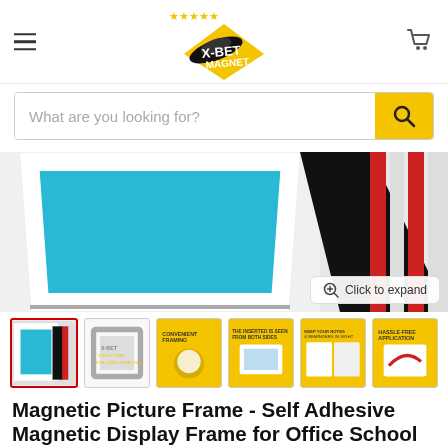[Figure (logo): X-BET MAGNET logo with yellow stars and a flying saucer graphic on a black diamond shape]
[Figure (other): Search bar with placeholder text 'What are you looking for?' and yellow search button]
[Figure (photo): Close-up product photo of magnetic picture frames showing white frame with teal/blue insert, black frame, and red/white striped frame. Has 'Click to expand' button overlay.]
[Figure (photo): Row of 6 product thumbnail images for the magnetic picture frame product]
Magnetic Picture Frame - Self Adhesive Magnetic Display Frame for Office School Classroom Home -